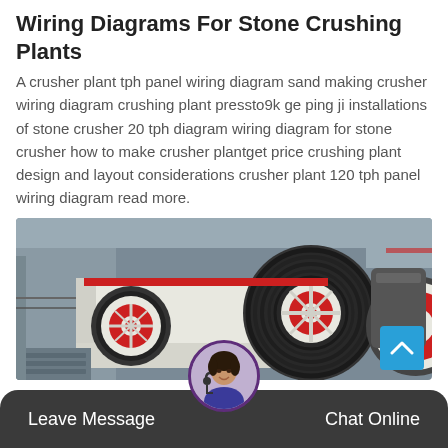Wiring Diagrams For Stone Crushing Plants
A crusher plant tph panel wiring diagram sand making crusher wiring diagram crushing plant pressto9k ge ping ji installations of stone crusher 20 tph diagram wiring diagram for stone crusher how to make crusher plantget price crushing plant design and layout considerations crusher plant 120 tph panel wiring diagram read more.
[Figure (photo): Industrial stone crusher machinery with large red and black flywheels/pulleys in a factory setting]
Leave Message   Chat Online